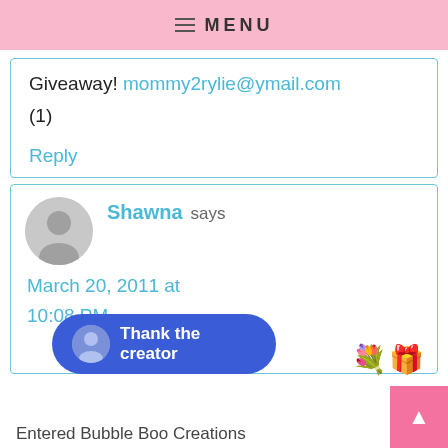MENU
Giveaway! mommy2rylie@ymail.com
(1)
Reply
Shawna says
March 20, 2011 at 10:08 PM
Entered Bubble Boo Creations